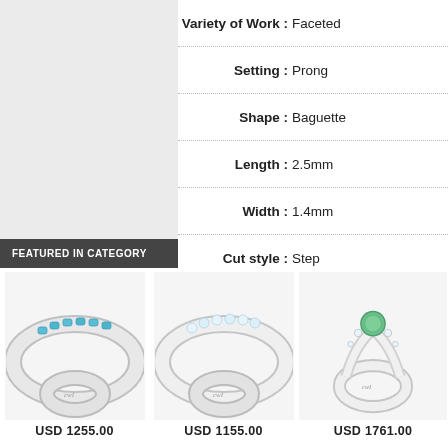[Figure (photo): Gray placeholder area for a ring product photo on the left side]
FEATURED IN CATEGORY
| Attribute | Value |
| --- | --- |
| Variety of Work | Faceted |
| Setting | Prong |
| Shape | Baguette |
| Length | 2.5mm |
| Width | 1.4mm |
| Cut style | Step |
| Clarity | VVS |
| Color | G (Near Color |
[Figure (photo): Silver ring with blue/teal gemstones]
USD 1255.00
[Figure (photo): Silver ring with clear/white gemstones]
USD 1155.00
[Figure (photo): Silver ring with green center gemstone and side stones]
USD 1761.00